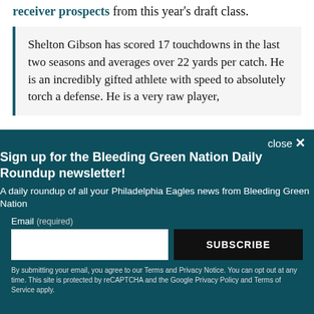receiver prospects from this year's draft class.
Shelton Gibson has scored 17 touchdowns in the last two seasons and averages over 22 yards per catch. He is an incredibly gifted athlete with speed to absolutely torch a defense. He is a very raw player,
Sign up for the Bleeding Green Nation Daily Roundup newsletter! A daily roundup of all your Philadelphia Eagles news from Bleeding Green Nation
Email (required)
By submitting your email, you agree to our Terms and Privacy Notice. You can opt out at any time. This site is protected by reCAPTCHA and the Google Privacy Policy and Terms of Service apply.